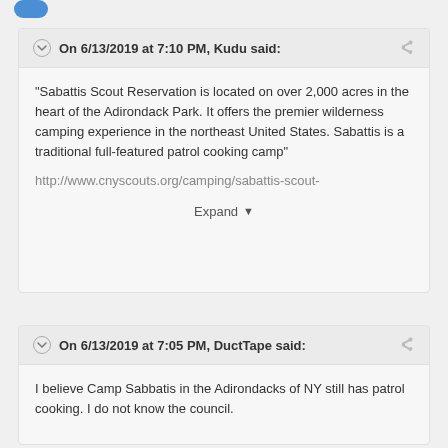On 6/13/2019 at 7:10 PM, Kudu said:
"Sabattis Scout Reservation is located on over 2,000 acres in the heart of the Adirondack Park. It offers the premier wilderness camping experience in the northeast United States. Sabattis is a traditional full-featured patrol cooking camp"
http://www.cnyscouts.org/camping/sabattis-scout-
Expand
On 6/13/2019 at 7:05 PM, DuctTape said:
I believe Camp Sabbatis in the Adirondacks of NY still has patrol cooking. I do not know the council.